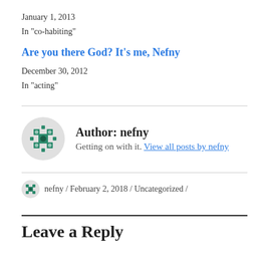January 1, 2013
In "co-habiting"
Are you there God? It's me, Nefny
December 30, 2012
In "acting"
Author: nefny
Getting on with it. View all posts by nefny
nefny / February 2, 2018 / Uncategorized /
Leave a Reply